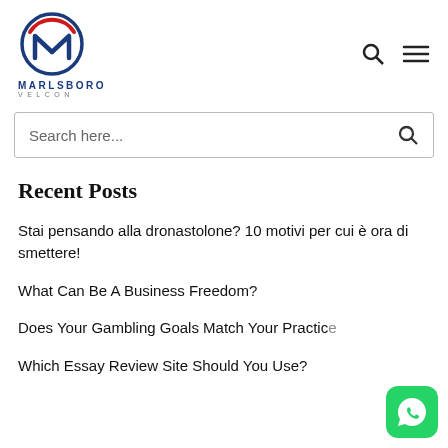[Figure (logo): Marlsboro Velcon logo — circular emblem with stylized M in red and blue, company name MARLSBORO in bold blue, VELCON in gray spaced letters below]
Search here...
Recent Posts
Stai pensando alla dronastolone? 10 motivi per cui è ora di smettere!
What Can Be A Business Freedom?
Does Your Gambling Goals Match Your Practice
Which Essay Review Site Should You Use?